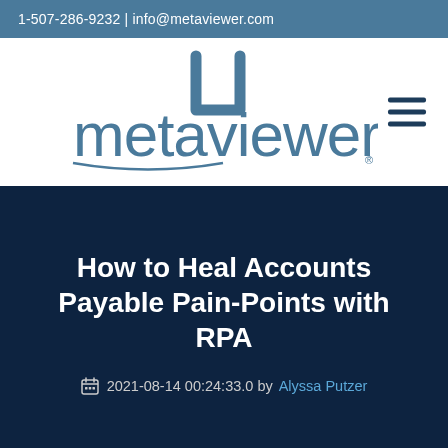1-507-286-9232 | info@metaviewer.com
[Figure (logo): MetaViewer logo — stylized square bracket icon above the word 'metaviewer' with registered trademark symbol, in steel blue color]
How to Heal Accounts Payable Pain-Points with RPA
2021-08-14 00:24:33.0 by Alyssa Putzer